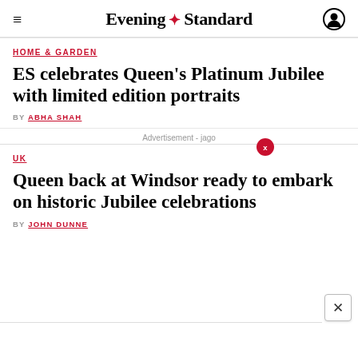Evening Standard
HOME & GARDEN
ES celebrates Queen's Platinum Jubilee with limited edition portraits
BY ABHA SHAH
Advertisement - jago
UK
Queen back at Windsor ready to embark on historic Jubilee celebrations
BY JOHN DUNNE